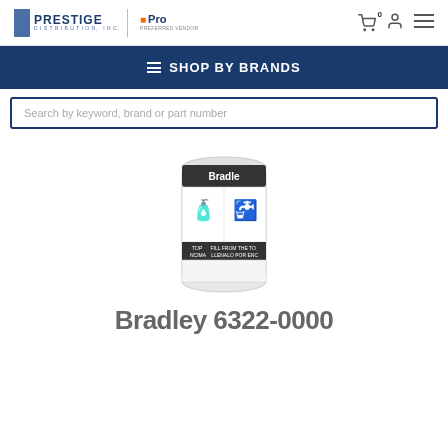Prestige Distribution Inc. | Home Depot Pro Preferred Vendor
≡ SHOP BY BRANDS
Search by keyword, brand or part number
[Figure (photo): Product image of a cylindrical container/soap dispenser refill bottle labeled Bradley with instructions 'FILL FROM THE TOP / LLENALO POR ENCIMA']
Bradley 6322-0000